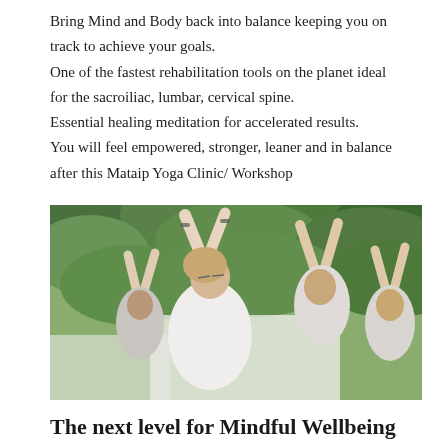Bring Mind and Body back into balance keeping you on track to achieve your goals.
One of the fastest rehabilitation tools on the planet ideal for the sacroiliac, lumbar, cervical spine.
Essential healing meditation for accelerated results.
You will feel empowered, stronger, leaner and in balance after this Mataip Yoga Clinic/ Workshop
[Figure (photo): People practicing yoga outdoors with arms raised, surrounded by green foliage. A Mataip logo is visible in the upper left corner of the image.]
The next level for Mindful Wellbeing